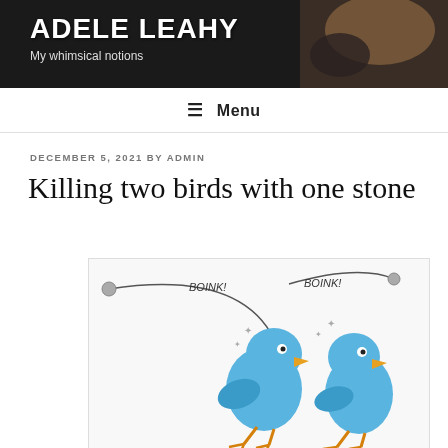ADELE LEAHY
My whimsical notions
≡ Menu
DECEMBER 5, 2021 BY ADMIN
Killing two birds with one stone
[Figure (illustration): Cartoon illustration of two blue birds being hit by stones, with 'BOINK!' text above each bird. The birds are drawn in a humorous style with yellow beaks and feet, stars and impact marks around their heads.]